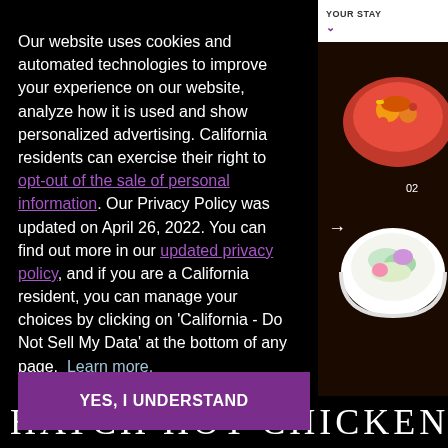Our website uses cookies and automated technologies to improve your experience on our website, analyze how it is used and show personalized advertising. California residents can exercise their right to opt-out of the sale of personal information. Our Privacy Policy was updated on April 26, 2022. You can find out more in our updated privacy policy, and if you are a California resident, you can manage your choices by clicking on 'California - Do Not Sell My Data' at the bottom of any page. Learn more.
YES, I UNDERSTAND
[Figure (photo): Photo of food bowls with salad and chicken dishes visible on the right side of the page, partially cropped]
HATCH HOT CHICKEN